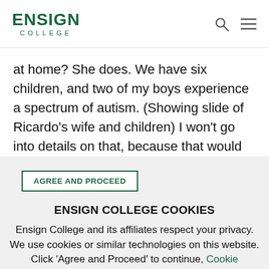ENSIGN COLLEGE
at home? She does. We have six children, and two of my boys experience a spectrum of autism. (Showing slide of Ricardo's wife and children) I won't go into details on that, because that would be a conversation for another day, but needless to
AGREE AND PROCEED
ENSIGN COLLEGE COOKIES
Ensign College and its affiliates respect your privacy. We use cookies or similar technologies on this website. Click 'Agree and Proceed' to continue, Cookie Preferences to adjust your cookies or read our privacy policy.